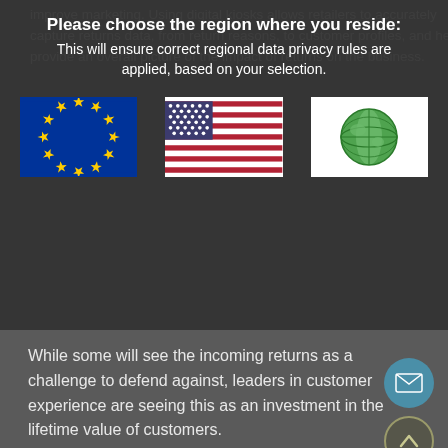improve marketing. Using digital kiosks allows retailers to accurately capture returns data, from return reasons, to customer profiles, and helps provide an overall picture of the impact of returns on the business.
Please choose the region where you reside:
This will ensure correct regional data privacy rules are applied, based on your selection.
[Figure (illustration): Three flag images in a row: EU flag (blue with yellow stars circle), US flag (red white and blue stripes with stars), and a globe icon on white background.]
While some will see the incoming returns as a challenge to defend against, leaders in customer experience are seeing this as an investment in the lifetime value of customers.
“Some brands make it complicated and difficult for the consumer, but that is a short-term vision… They won’t come back.”